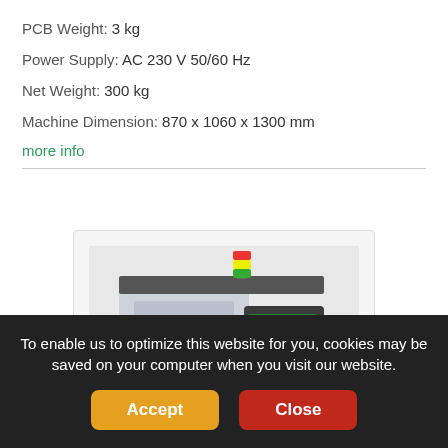PCB Weight:  3 kg
Power Supply:  AC 230 V 50/60 Hz
Net Weight:  300 kg
Machine Dimension:  870 x 1060 x 1300 mm
more info
[Figure (photo): Industrial inspection machine - Viscom AG S3088 ultra chrome. A large grey and black cabinet-style machine with a monitor/screen on the right side and a signal light on top.]
Viscom AG - S3088 ultra chrome
To enable us to optimize this website for you, cookies may be saved on your computer when you visit our website.